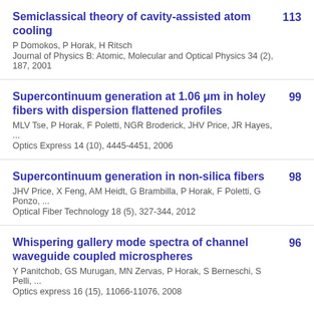Semiclassical theory of cavity-assisted atom cooling | P Domokos, P Horak, H Ritsch | Journal of Physics B: Atomic, Molecular and Optical Physics 34 (2), 187, 2001 | 113
Supercontinuum generation at 1.06 μm in holey fibers with dispersion flattened profiles | MLV Tse, P Horak, F Poletti, NGR Broderick, JHV Price, JR Hayes, ... | Optics Express 14 (10), 4445-4451, 2006 | 99
Supercontinuum generation in non-silica fibers | JHV Price, X Feng, AM Heidt, G Brambilla, P Horak, F Poletti, G Ponzo, ... | Optical Fiber Technology 18 (5), 327-344, 2012 | 98
Whispering gallery mode spectra of channel waveguide coupled microspheres | Y Panitchob, GS Murugan, MN Zervas, P Horak, S Berneschi, S Pelli, ... | Optics express 16 (15), 11066-11076, 2008 | 96